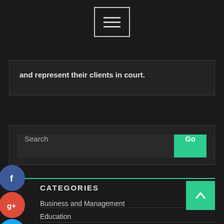[Figure (screenshot): Hamburger menu button (three horizontal lines) with rectangular border, centered at top of page on dark background]
and represent their clients in court.
[Figure (screenshot): Search bar with 'Search' placeholder text and green 'Go' button]
[Figure (screenshot): Social media share icons: Facebook (blue), Google+ (red), Twitter (blue), Add/Plus (green) arranged vertically on left side]
CATEGORIES
Business and Management
Education
General
[Figure (screenshot): Green back-to-top arrow button in bottom right corner]